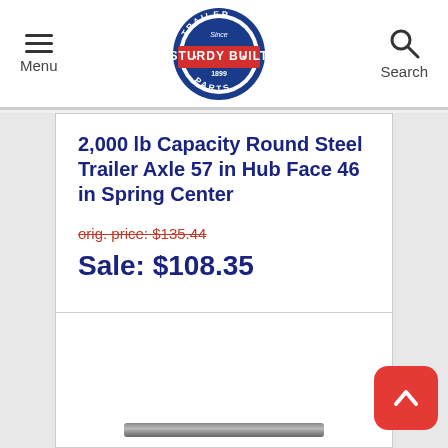Menu | Sturdy Built Trailer Parts | Search
2,000 lb Capacity Round Steel Trailer Axle 57 in Hub Face 46 in Spring Center
orig. price: $135.44
Sale: $108.35
[Figure (photo): Product image of a trailer axle, partially visible at bottom of page]